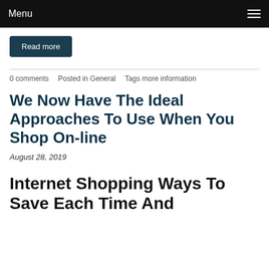Menu
Read more
0 comments   Posted in General   Tags more information
We Now Have The Ideal Approaches To Use When You Shop On-line
August 28, 2019
Internet Shopping Ways To Save Each Time And